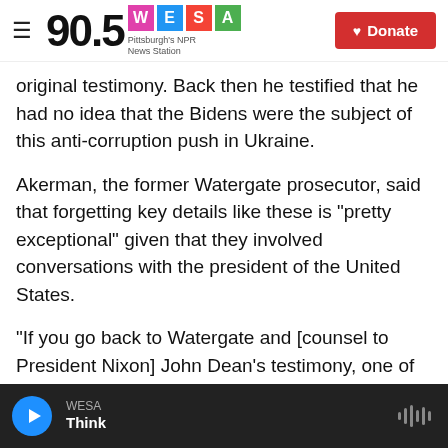90.5 WESA — Pittsburgh's NPR News Station | Donate
original testimony. Back then he testified that he had no idea that the Bidens were the subject of this anti-corruption push in Ukraine.
Akerman, the former Watergate prosecutor, said that forgetting key details like these is "pretty exceptional" given that they involved conversations with the president of the United States.
"If you go back to Watergate and [counsel to President Nixon] John Dean's testimony, one of the things that he said in his testimony ... [was] that the reason he could remember these conversations so vividly was because he was talking to the president
WESA | Think